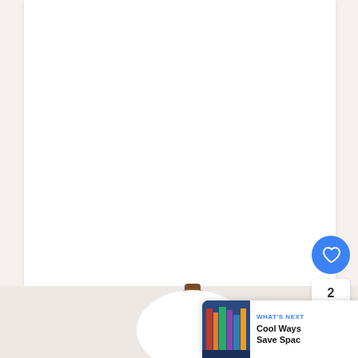[Figure (photo): Screenshot of a web page or app showing a large white content area (document/article) on a light gray background. In the lower portion, a ceiling-mounted lamp with a white globe shade and brown/wooden fitting is partially visible. On the right side, UI overlay elements are visible: a blue circular heart/like button, a count badge showing '2', and a white circular share button with a share icon. In the bottom-right corner, a 'What's Next' recommendation card shows a thumbnail image of a room and text reading 'WHAT'S NEXT' and 'Cool Ways Save Spac' (truncated).]